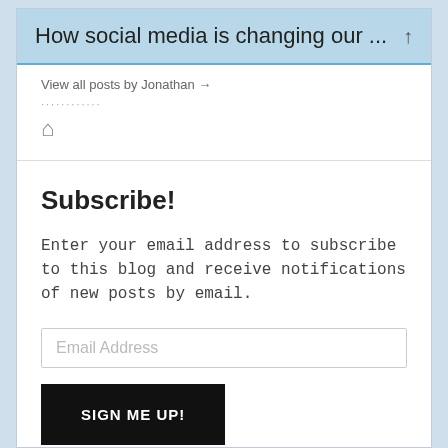How social media is changing our ...
View all posts by Jonathan →
Subscribe!
Enter your email address to subscribe to this blog and receive notifications of new posts by email.
Email Address
SIGN ME UP!
Join 6,083 other followers